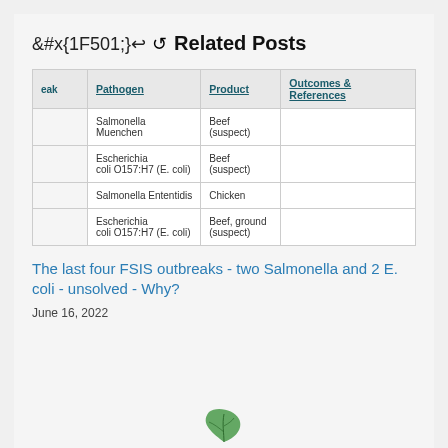Related Posts
| eak | Pathogen | Product | Outcomes & References |
| --- | --- | --- | --- |
|  | Salmonella Muenchen | Beef (suspect) |  |
|  | Escherichia coli O157:H7 (E. coli) | Beef (suspect) |  |
|  | Salmonella Ententidis | Chicken |  |
|  | Escherichia coli O157:H7 (E. coli) | Beef, ground (suspect) |  |
The last four FSIS outbreaks - two Salmonella and 2 E. coli - unsolved - Why?
June 16, 2022